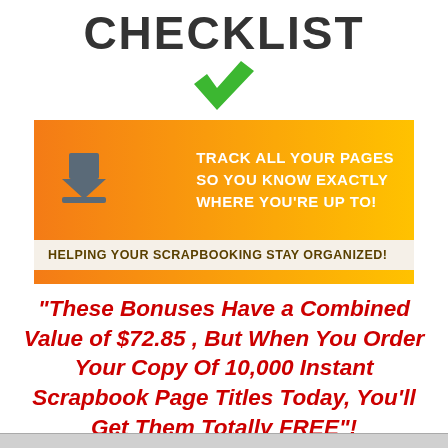CHECKLIST
[Figure (illustration): Green checkmark icon]
[Figure (infographic): Orange gradient banner with download icon and text: TRACK ALL YOUR PAGES SO YOU KNOW EXACTLY WHERE YOU'RE UP TO! Subtitle: HELPING YOUR SCRAPBOOKING STAY ORGANIZED!]
"These Bonuses Have a Combined Value of $72.85 , But When You Order Your Copy Of 10,000 Instant Scrapbook Page Titles Today, You'll Get Them Totally FREE"!